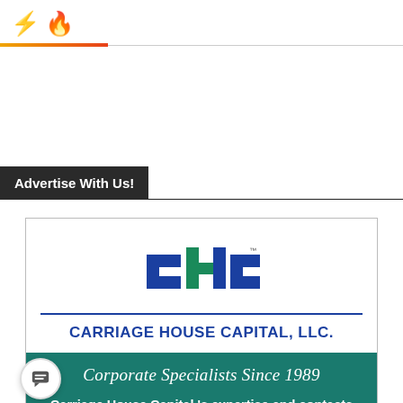[Figure (logo): Page header with lightning bolt icon (yellow) and fire icon (orange-red), followed by a gradient orange-to-red horizontal divider line]
Advertise With Us!
[Figure (illustration): Carriage House Capital LLC advertisement. Contains CHC logo in teal and blue, company name 'CARRIAGE HOUSE CAPITAL, LLC.' in dark blue, tagline 'Corporate Specialists Since 1989' in italic on teal background, and body text 'Carriage House Capital 's expertise and contacts cover every phase of public and private companies.']